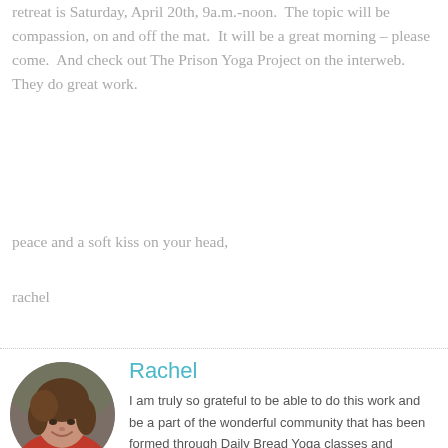retreat is Saturday, April 20th, 9a.m.-noon.  The topic will be compassion, on and off the mat.  It will be a great morning – please come.  And check out The Prison Yoga Project on the interweb.  They do great work.
peace and a soft kiss on your head,
rachel
[Figure (photo): Circular portrait photo of Rachel, a woman with brown hair, smiling, wearing a red top]
Rachel
I am truly so grateful to be able to do this work and be a part of the wonderful community that has been formed through Daily Bread Yoga classes and retreats. If you